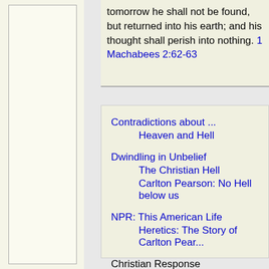tomorrow he shall not be found, but returned into his earth; and his thought shall perish into nothing. 1 Machabees 2:62-63
Contradictions about ...
    Heaven and Hell
Dwindling in Unbelief
    The Christian Hell
    Carlton Pearson: No Hell below us
NPR: This American Life
    Heretics: The Story of Carlton Pear...
Christian Response
    Christ Created
    Annotated Skeptic's Annotated Bibl... death (Matthew 10)